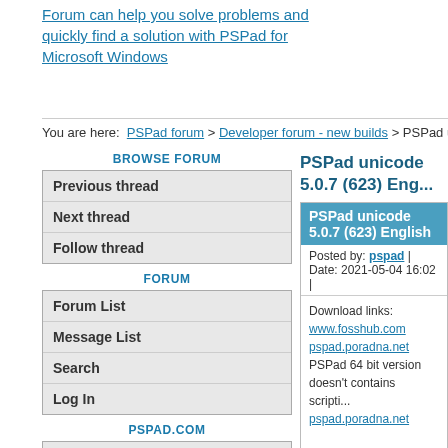Forum can help you solve problems and quickly find a solution with PSPad for Microsoft Windows
You are here: PSPad forum > Developer forum - new builds > PSPad unic...
BROWSE FORUM
Previous thread
Next thread
Follow thread
FORUM
Forum List
Message List
Search
Log In
PSPAD.COM
PSPad home
PSPad unicode 5.0.7 (623) Eng...
PSPad unicode 5.0.7 (623) English
Posted by: pspad | Date: 2021-05-04 16:02 |
Download links: www.fosshub.com pspad.poradna.net PSPad 64 bit version doesn't contains scripting... pspad.poradna.net
SHA1 hash: ed8091a8e75f33cabd2dfb321c46c89d384db7ec... 7214629bad475e632c9e7d4024820844c495b907...
This archive contains modified files only. T... 1. Download and install latest full version fi... 2. Replace existing files with content of archi...
Changes to 5.0.7 (620)
News: Code folding support for User highlighters. Fo... necessary to set tcfCurlyBracket for Codefold... file. I will include it in the next build.